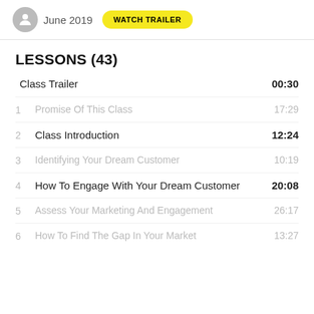June 2019 WATCH TRAILER
LESSONS (43)
Class Trailer  00:30
1  Promise Of This Class  17:29
2  Class Introduction  12:24
3  Identifying Your Dream Customer  10:19
4  How To Engage With Your Dream Customer  20:08
5  Assess Your Marketing And Engagement  26:17
6  How To Find The Gap In Your Market  13:27